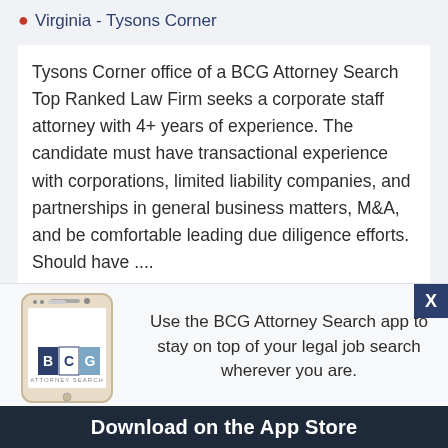Virginia - Tysons Corner
Tysons Corner office of a BCG Attorney Search Top Ranked Law Firm seeks a corporate staff attorney with 4+ years of experience. The candidate must have transactional experience with corporations, limited liability companies, and partnerships in general business matters, M&A, and be comfortable leading due diligence efforts. Should have ....
Practice Areas : Corporate - General
Ranking 4 : Medium to Large Business $$$$
Experience Level : Midlevel Associate
[Figure (screenshot): BCG Attorney Search mobile app advertisement showing a smartphone with BCG Attorney Search logo and text: Use the BCG Attorney Search app to stay on top of your legal job search wherever you are. Download on the App Store.]